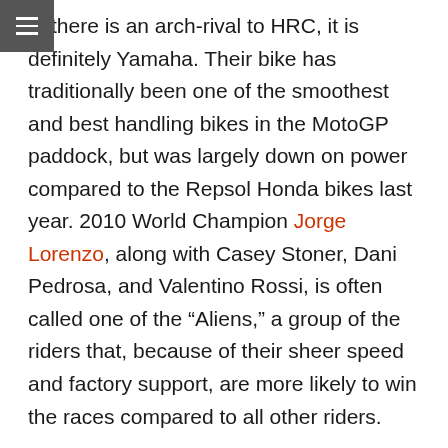If there is an arch-rival to HRC, it is definitely Yamaha. Their bike has traditionally been one of the smoothest and best handling bikes in the MotoGP paddock, but was largely down on power compared to the Repsol Honda bikes last year. 2010 World Champion Jorge Lorenzo, along with Casey Stoner, Dani Pedrosa, and Valentino Rossi, is often called one of the "Aliens," a group of the riders that, because of their sheer speed and factory support, are more likely to win the races compared to all other riders.
Long hailed a great racer in American Superbike, Ben Spies' racing ambition has